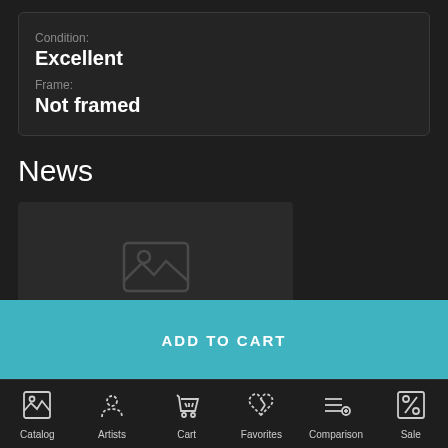Condition:
Excellent
Frame:
Not framed
News
[Figure (screenshot): Dark card thumbnail with a faint icon and 'NEW ADDITIONS' label at bottom]
ADD TO CART
Catalog
Artists
Cart
Favorites
Comparison
Sale